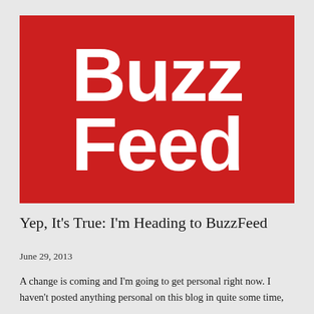[Figure (logo): BuzzFeed logo: white bold text 'BuzzFeed' on red background, two lines: 'Buzz' on top, 'Feed' on bottom]
Yep, It's True: I'm Heading to BuzzFeed
June 29, 2013
A change is coming and I'm going to get personal right now. I haven't posted anything personal on this blog in quite some time, and I know some of you are wondering about the BuzzFeed...